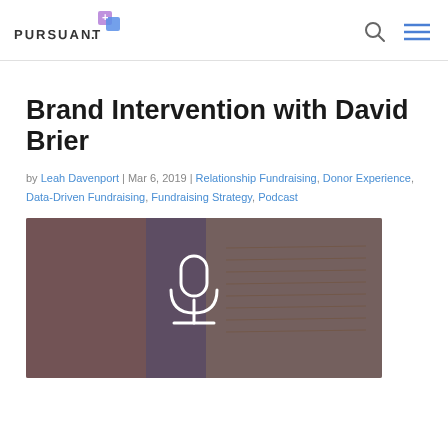PURSUANT
Brand Intervention with David Brier
by Leah Davenport | Mar 6, 2019 | Relationship Fundraising, Donor Experience, Data-Driven Fundraising, Fundraising Strategy, Podcast
[Figure (photo): Podcast thumbnail image showing hands writing in a notebook with a white microphone icon overlay on a dark background]